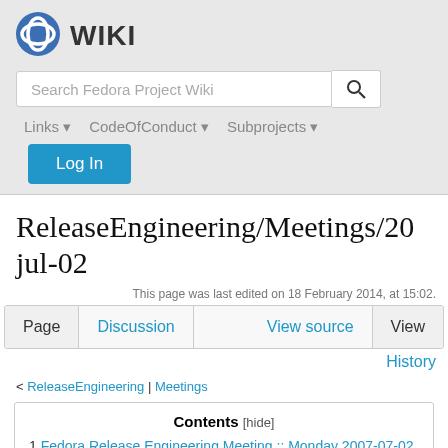[Figure (logo): Fedora Wiki logo with blue Fedora infinity icon and WIKI text]
Search Fedora Project Wiki
Links | CodeOfConduct | Subprojects | Log In
ReleaseEngineering/Meetings/2007-jul-02
This page was last edited on 18 February 2014, at 15:02.
Page | Discussion | View source | View | History
< ReleaseEngineering | Meetings
Contents [hide]
1 Fedora Release Engineering Meeting :: Monday 2007-07-02
1.1 Fedora Fedolaes...